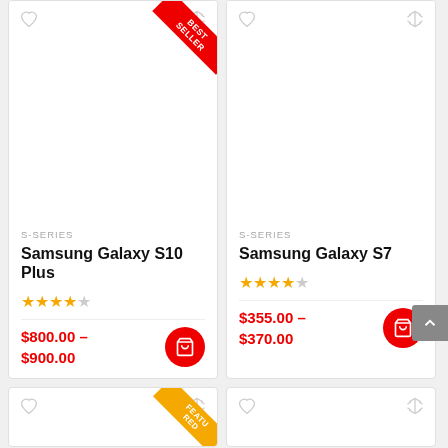[Figure (screenshot): Product card for Samsung Galaxy S10 Plus showing Best Seller ribbon, heart/compare icons, 3.5 star rating, price range $800.00 – $900.00, and add-to-cart button]
S-SERIES
Samsung Galaxy S10 Plus
★★★★☆
$800.00 – $900.00
[Figure (screenshot): Product card for Samsung Galaxy S7 showing heart/compare icons, 4 star rating, price range $355.00 – $370.00, and add-to-cart button]
S-SERIES
Samsung Galaxy S7
★★★★☆
$355.00 – $370.00
[Figure (screenshot): Partial product card at bottom-left with Featured ribbon]
[Figure (screenshot): Partial product card at bottom-right]